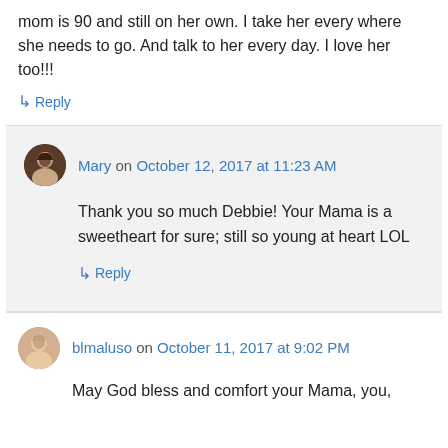mom is 90 and still on her own. I take her every where she needs to go. And talk to her every day. I love her too!!!
↳ Reply
Mary on October 12, 2017 at 11:23 AM
Thank you so much Debbie! Your Mama is a sweetheart for sure; still so young at heart LOL
↳ Reply
blmaluso on October 11, 2017 at 9:02 PM
May God bless and comfort your Mama, you,